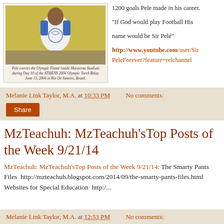[Figure (photo): Pele carrying the Olympic Flame inside Maracena Stadium during Day 10 of the ATHENS 2004 Olympic Torch Relay, June 13, 2004 in Rio De Janeiro, Brazil.]
Pele carries the Olympic Flame inside Maracena Stadium during Day 10 of the ATHENS 2004 Olympic Torch Relay June 13, 2004 in Rio De Janeiro, Brazil.
1200 goals Pele made in his career.

"If God would play Football His name would be Sir Pelé"

http://www.youtube.com/user/SirPeleForever?feature=relchannel
Melanie Link Taylor, M.A. at 10:33 PM    No comments:
Share
MzTeachuh: MzTeachuh'sTop Posts of the Week 9/21/14
MzTeachuh: MzTeachuh'sTop Posts of the Week 9/21/14: The Smarty Pants Files  http://mzteachuh.blogspot.com/2014/09/the-smarty-pants-files.html   Websites for Special Education  http:/...
Melanie Link Taylor, M.A. at 12:53 PM    No comments: